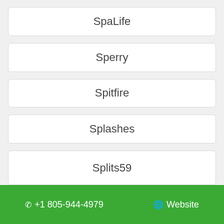SpaLife
Sperry
Spitfire
Splashes
Splits59
📞 +1 805-944-4979   🌐 Website